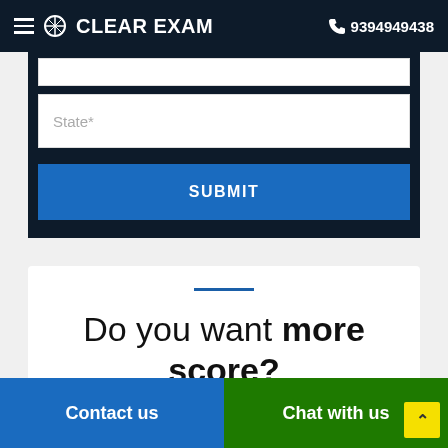CLEAR EXAM  9394949438
[Figure (screenshot): Form input field for State* with white background, followed by a SUBMIT button in blue]
Do you want more score?
Contact us  Chat with us